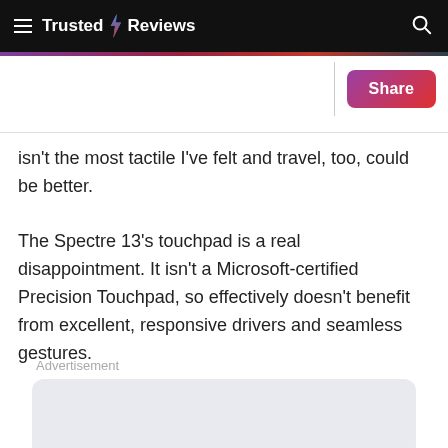Trusted Reviews
isn't the most tactile I've felt and travel, too, could be better.
The Spectre 13's touchpad is a real disappointment. It isn't a Microsoft-certified Precision Touchpad, so effectively doesn't benefit from excellent, responsive drivers and seamless gestures.
Advertisement